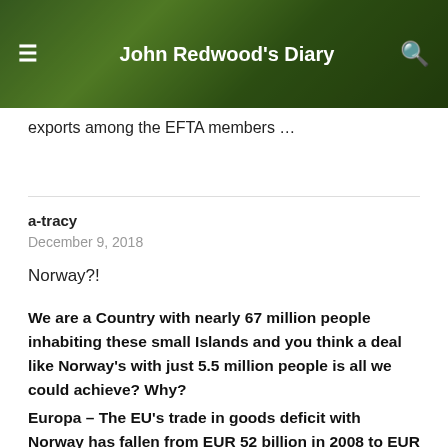John Redwood's Diary
exports among the EFTA members …
a-tracy
December 9, 2018
Norway?!
We are a Country with nearly 67 million people inhabiting these small Islands and you think a deal like Norway's with just 5.5 million people is all we could achieve? Why?
Europa – The EU's trade in goods deficit with Norway has fallen from EUR 52 billion in 2008 to EUR 27 billion in 2017. 81 % of EU exports of goods to Norway are manufactured goods